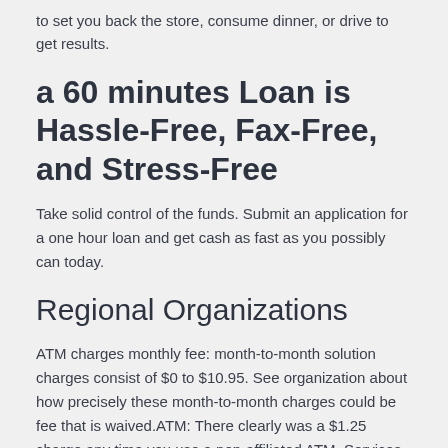to set you back the store, consume dinner, or drive to get results.
a 60 minutes Loan is Hassle-Free, Fax-Free, and Stress-Free
Take solid control of the funds. Submit an application for a one hour loan and get cash as fast as you possibly can today.
Regional Organizations
ATM charges monthly fee: month-to-month solution charges consist of $0 to $10.95. See organization about how precisely these month-to-month charges could be fee that is waived.ATM: There clearly was a $1.25 charge any time you use a non-affiliated ATM. Services Cellphone & Text Banking, Overdraft Protection, E-mail Alerts, On The Web Bill Pay, Activity Down Load, Free Checks, Unlimited Checks
ATM fees fee that is monthly Monthly solution charges are